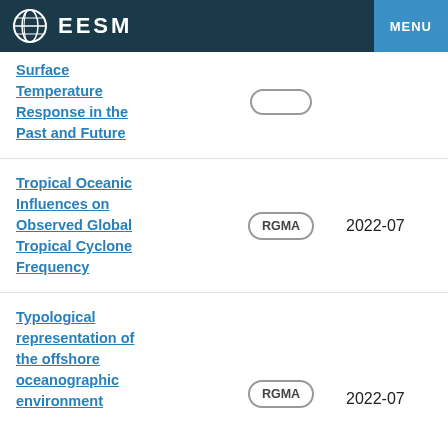EESM  MENU
Surface Temperature Response in the Past and Future
Tropical Oceanic Influences on Observed Global Tropical Cyclone Frequency  RGMA  2022-07
Typological representation of the offshore oceanographic environment  RGMA  2022-07